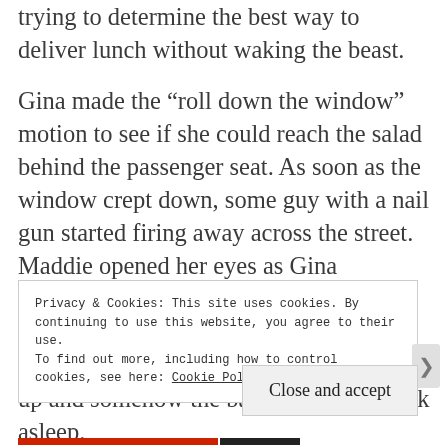trying to determine the best way to deliver lunch without waking the beast.

Gina made the “roll down the window” motion to see if she could reach the salad behind the passenger seat. As soon as the window crept down, some guy with a nail gun started firing away across the street. Maddie opened her eyes as Gina commando rolled onto the sidewalk and out of sight. By the time Gina hit the deck, the window was already rolled back up and somehow the baby had fallen back asleep.
Privacy & Cookies: This site uses cookies. By continuing to use this website, you agree to their use.
To find out more, including how to control cookies, see here: Cookie Policy
Close and accept